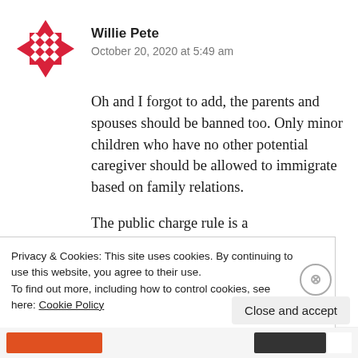[Figure (logo): Red decorative geometric avatar icon for user Willie Pete]
Willie Pete
October 20, 2020 at 5:49 am
Oh and I forgot to add, the parents and spouses should be banned too. Only minor children who have no other potential caregiver should be allowed to immigrate based on family relations.
The public charge rule is a
Privacy & Cookies: This site uses cookies. By continuing to use this website, you agree to their use.
To find out more, including how to control cookies, see here: Cookie Policy
Close and accept